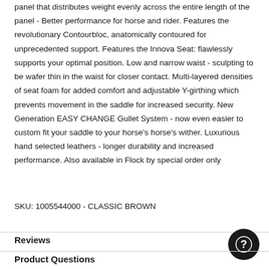panel that distributes weight evenly across the entire length of the panel - Better performance for horse and rider. Features the revolutionary Contourbloc, anatomically contoured for unprecedented support. Features the Innova Seat: flawlessly supports your optimal position. Low and narrow waist - sculpting to be wafer thin in the waist for closer contact. Multi-layered densities of seat foam for added comfort and adjustable Y-girthing which prevents movement in the saddle for increased security. New Generation EASY CHANGE Gullet System - now even easier to custom fit your saddle to your horse's horse's wither. Luxurious hand selected leathers - longer durability and increased performance. Also available in Flock by special order only
SKU: 1005544000 - CLASSIC BROWN
Reviews
Product Questions